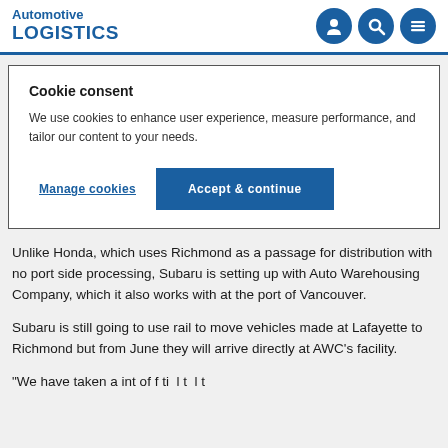Automotive LOGISTICS
Cookie consent
We use cookies to enhance user experience, measure performance, and tailor our content to your needs.
Manage cookies | Accept & continue
Unlike Honda, which uses Richmond as a passage for distribution with no port side processing, Subaru is setting up with Auto Warehousing Company, which it also works with at the port of Vancouver.
Subaru is still going to use rail to move vehicles made at Lafayette to Richmond but from June they will arrive directly at AWC's facility.
"We have taken a int of f ti l t l t